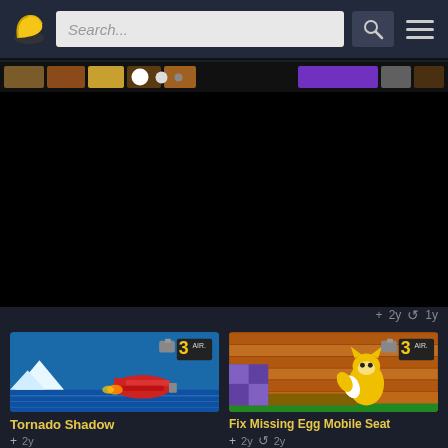[Figure (screenshot): Navigation bar with banana logo, search field, search button, and hamburger menu on dark background]
[Figure (screenshot): Carousel strip with game thumbnails and navigation dots, followed by large black content area]
+ 2y  ↺ 1y
[Figure (screenshot): Game card image for Tornado Shadow showing a red biplane on icy water, with Sonic 3 AIR badge]
Tornado Shadow
+ 2y
[Figure (screenshot): Game card image for Fix Missing Egg Mobile Seat showing Tails character in Sonic 3 AIR]
Fix Missing Egg Mobile Seat
+ 2y  ↺ 2y